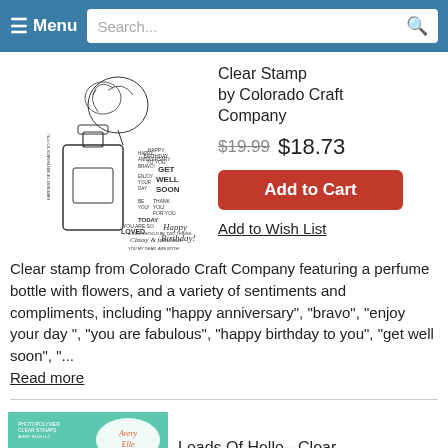≡ Menu  Search...
[Figure (illustration): A clear stamp sheet featuring a perfume bottle with flowers and various text sentiments including happy anniversary, bravo, enjoy your day, get well soon, happy birthday, etc.]
Clear Stamp by Colorado Craft Company
$19.99 $18.73
Add to Cart
Add to Wish List
Clear stamp from Colorado Craft Company featuring a perfume bottle with flowers, and a variety of sentiments and compliments, including "happy anniversary", "bravo", "enjoy your day ", "you are fabulous", "happy birthday to you", "get well soon", "...
Read more
[Figure (illustration): Avery Elle clear stamps product image with teal background showing 'hey!' script lettering and Avery Elle logo]
Loads Of Hello - Clear Stamp
by Avery Elle